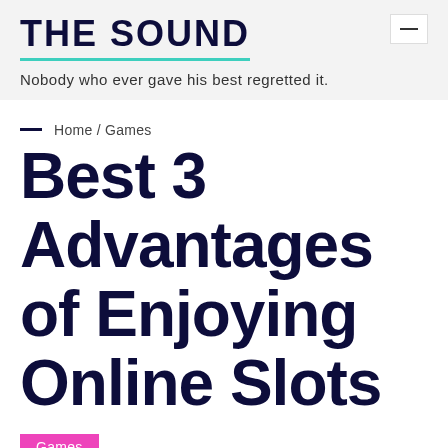THE SOUND
Nobody who ever gave his best regretted it.
Home / Games
Best 3 Advantages of Enjoying Online Slots
Games